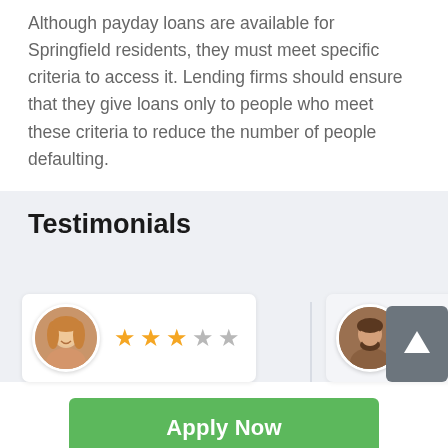Although payday loans are available for Springfield residents, they must meet specific criteria to access it. Lending firms should ensure that they give loans only to people who meet these criteria to reduce the number of people defaulting.
Testimonials
[Figure (illustration): Two testimonial cards, each with a circular avatar photo and star ratings (3.5 stars and partial stars visible). A gray up-arrow navigation button is at top right. First card shows a female reviewer with 3 filled stars, 1 half/empty, 1 empty. Second card partially visible with male reviewer.]
[Figure (other): Green 'Apply Now' button]
Applying does NOT affect your credit score!
No credit check to apply.